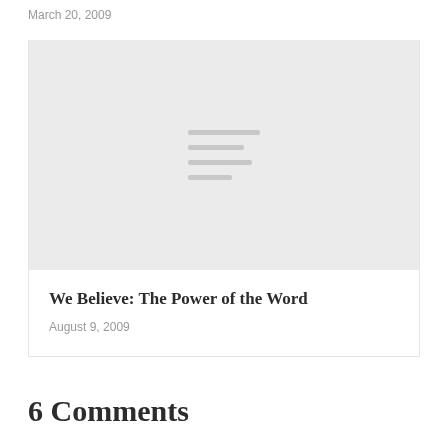March 20, 2009
[Figure (other): Light gray image placeholder with four horizontal lines of varying width centered in the middle, representing a missing or loading image thumbnail.]
We Believe: The Power of the Word
August 9, 2009
6 Comments